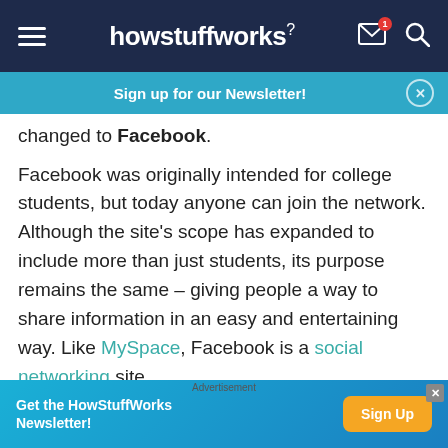howstuffworks
Sign up for our Newsletter!
changed to Facebook.
Facebook was originally intended for college students, but today anyone can join the network. Although the site's scope has expanded to include more than just students, its purpose remains the same – giving people a way to share information in an easy and entertaining way. Like MySpace, Facebook is a social networking site.
Advertisement
Get the HowStuffWorks Newsletter! Sign Up